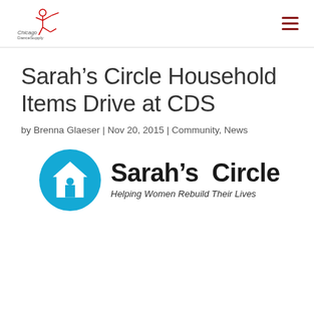Chicago Dance Supply [logo with hamburger menu]
Sarah’s Circle Household Items Drive at CDS
by Brenna Glaeser | Nov 20, 2015 | Community, News
[Figure (logo): Sarah’s Circle logo: circular blue icon with house and person silhouette, text 'Sarah’s Circle' in bold black, tagline 'Helping Women Rebuild Their Lives' in italic]